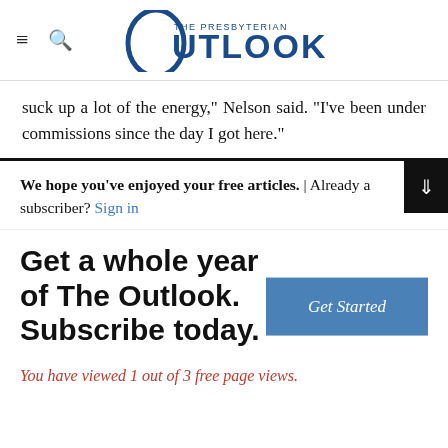The Presbyterian Outlook
suck up a lot of the energy,” Nelson said. “I’ve been under commissions since the day I got here.”
We hope you've enjoyed your free articles. | Already a subscriber? Sign in
Get a whole year of The Outlook. Subscribe today.
You have viewed 1 out of 3 free page views.